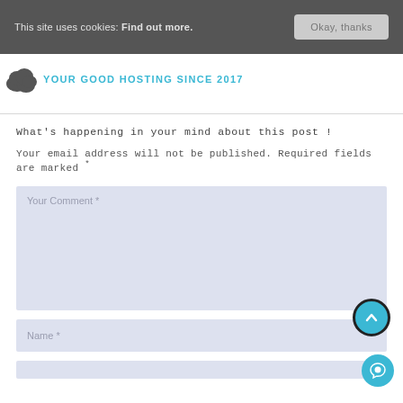This site uses cookies: Find out more. Okay, thanks
[Figure (logo): Cloud logo with text YOUR GOOD HOSTING SINCE 2017]
What’s happening in your mind about this post !
Your email address will not be published. Required fields are marked *
Your Comment *
Name *